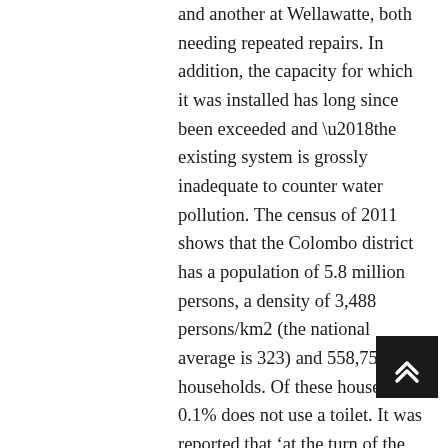and another at Wellawatte, both needing repeated repairs. In addition, the capacity for which it was installed has long since been exceeded and ‘the existing system is grossly inadequate to counter water pollution. The census of 2011 shows that the Colombo district has a population of 5.8 million persons, a density of 3,488 persons/km2 (the national average is 323) and 558,755 households. Of these households, 0.1% does not use a toilet. It was reported that ‘at the turn of the last century there were about 1,500 shanty settlements in the [Colombo] city, comprising around 66,000 households sheltering about 51% of the population’. This sector of the population is ‘under-served in respect to sanitation, safe water and waste disposal facilities.